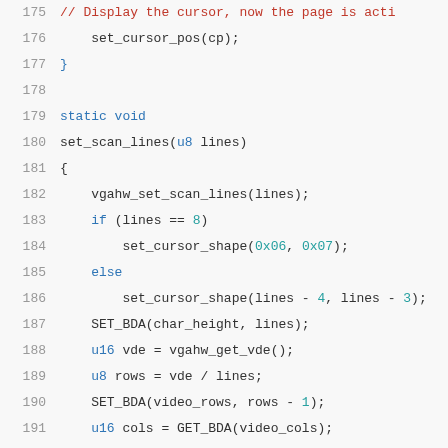[Figure (screenshot): Source code listing showing C function set_scan_lines with line numbers 175-195, syntax highlighted in a code editor style.]